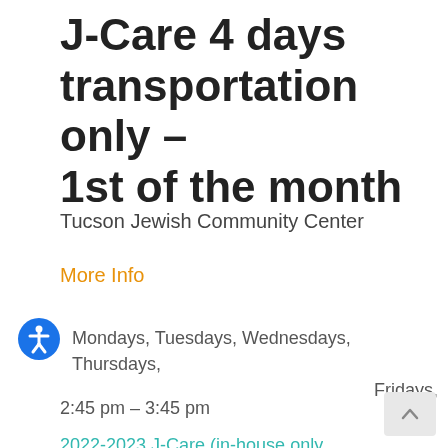J-Care 4 days transportation only – 1st of the month
Tucson Jewish Community Center
More Info
Mondays, Tuesdays, Wednesdays, Thursdays, Fridays,
2:45 pm – 3:45 pm
2022-2023 J-Care (in-house only
J-Care 4 days no